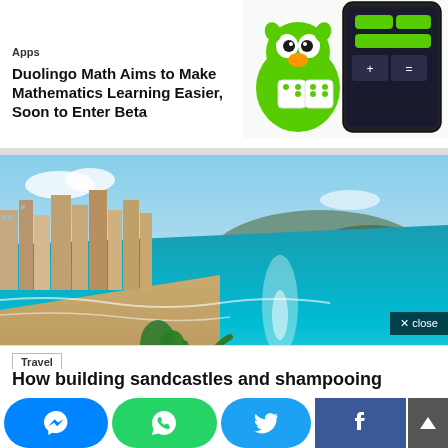Apps
Duolingo Math Aims to Make Mathematics Learning Easier, Soon to Enter Beta
[Figure (screenshot): Duolingo Math app screenshot showing green owl mascot and a mobile phone with math exercises]
[Figure (photo): Aerial view of a beach resort city with blue ocean water, sandy beach, and tall buildings along the coastline, with mountains in the background. A 'close' button overlay is visible.]
Travel
How building sandcastles and shampooing...
[Figure (infographic): Social sharing bar with Messenger, WhatsApp, Twitter, Facebook buttons and a scroll-up arrow]